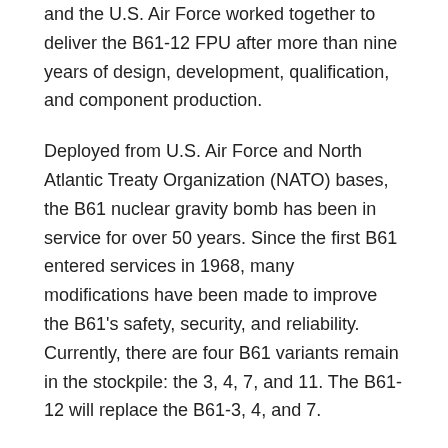and the U.S. Air Force worked together to deliver the B61-12 FPU after more than nine years of design, development, qualification, and component production.
Deployed from U.S. Air Force and North Atlantic Treaty Organization (NATO) bases, the B61 nuclear gravity bomb has been in service for over 50 years. Since the first B61 entered services in 1968, many modifications have been made to improve the B61's safety, security, and reliability. Currently, there are four B61 variants remain in the stockpile: the 3, 4, 7, and 11. The B61-12 will replace the B61-3, 4, and 7.
The B61-12 LEP refurbishes, reuses, or replaces all of the bomb's nuclear or non-nuclear components to extend the service life by at least 20 years. The updated variant will not only be carried by heavy bombers like the B-52 and the B-2